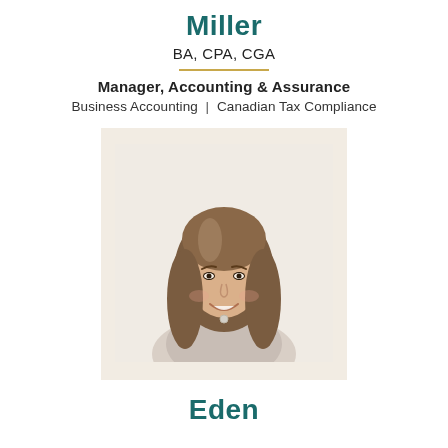Miller
BA, CPA, CGA
Manager, Accounting & Assurance
Business Accounting  |  Canadian Tax Compliance
[Figure (photo): Professional headshot of a young woman with long wavy brown hair, smiling, wearing a light blouse, set against a light background with a warm beige photo border.]
Eden